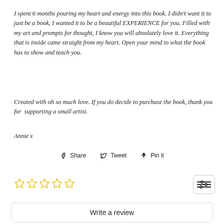I spent 6 months pouring my heart and energy into this book. I didn't want it to just be a book, I wanted it to be a beautiful EXPERIENCE for you. Filled with my art and prompts for thought, I know you will absolutely love it. Everything that is inside came straight from my heart. Open your mind to what the book has to show and teach you.
Created with oh so much love. If you do decide to purchase the book, thank you for  supporting a small artist.
Annie x
Share   Tweet   Pin it
[Figure (other): Five empty star rating icons in gold/yellow outline]
[Figure (other): Filter/settings icon button]
Write a review